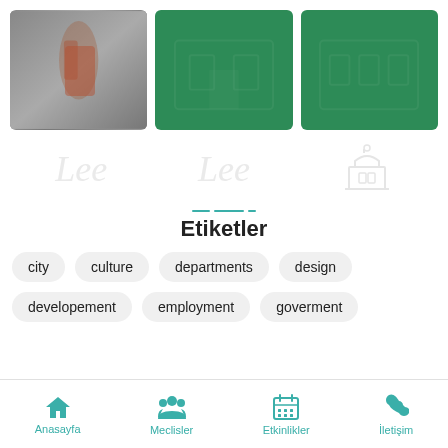[Figure (photo): Three images in a row: a blurry photo of a person in an industrial/foggy setting, and two green placeholder images with building/city overlay icons]
[Figure (illustration): Three watermark-style graphics: two cursive 'Lee' text watermarks and one government building icon, all in light gray]
Etiketler
city
culture
departments
design
developement
employment
goverment
Anasayfa  Meclisler  Etkinlikler  İletişim